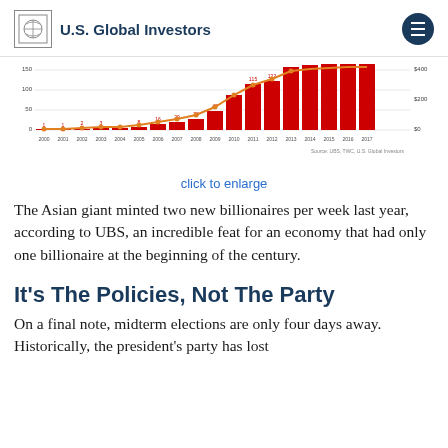U.S. Global Investors
[Figure (bar-chart): Bar chart of China billionaires 2000-2017 with line overlay]
click to enlarge
The Asian giant minted two new billionaires per week last year, according to UBS, an incredible feat for an economy that had only one billionaire at the beginning of the century.
It's The Policies, Not The Party
On a final note, midterm elections are only four days away. Historically, the president's party has lost